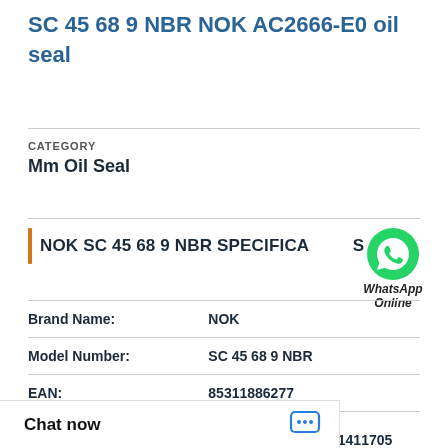SC 45 68 9 NBR NOK AC2666-E0 oil seal
NOK SC 45 68 9 NBR SPECIFICATIONS
CATEGORY
Mm Oil Seal
| Field | Value |
| --- | --- |
| Brand Name: | NOK |
| Model Number: | SC 45 68 9 NBR |
| EAN: | 85311886277 |
| Noun: | Seal |
|  | 31411705 |
[Figure (illustration): WhatsApp Online green phone icon with label 'WhatsApp Online']
Chat now